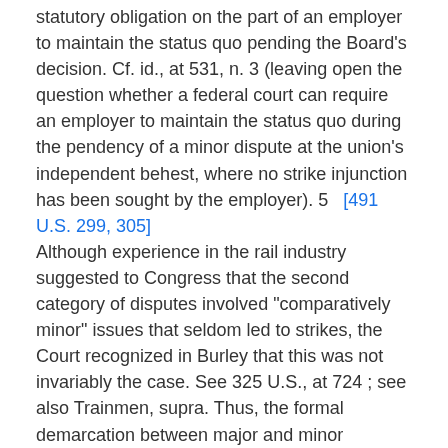statutory obligation on the part of an employer to maintain the status quo pending the Board's decision. Cf. id., at 531, n. 3 (leaving open the question whether a federal court can require an employer to maintain the status quo during the pendency of a minor dispute at the union's independent behest, where no strike injunction has been sought by the employer). 5   [491 U.S. 299, 305]
Although experience in the rail industry suggested to Congress that the second category of disputes involved "comparatively minor" issues that seldom led to strikes, the Court recognized in Burley that this was not invariably the case. See 325 U.S., at 724 ; see also Trainmen, supra. Thus, the formal demarcation between major and minor disputes does not turn on a case-by-case determination of the importance of the issue presented or the likelihood that it would prompt the exercise of economic self-help. See National Railway Labor Conference v. International Assn. of Machinists and Aerospace Workers, 830 F.2d 741, 747, n. 5